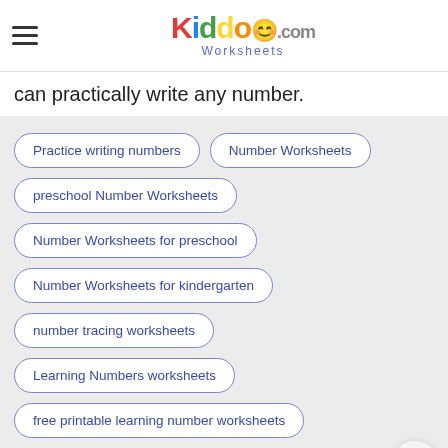KiddoWorksheets.com
can practically write any number.
Practice writing numbers
Number Worksheets
preschool Number Worksheets
Number Worksheets for preschool
Number Worksheets for kindergarten
number tracing worksheets
Learning Numbers worksheets
free printable learning number worksheets
number tracing worksheets pdf